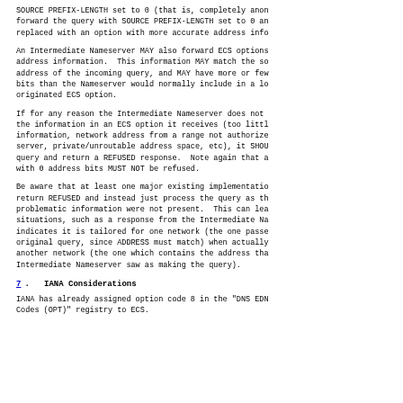SOURCE PREFIX-LENGTH set to 0 (that is, completely anon forward the query with SOURCE PREFIX-LENGTH set to 0 an replaced with an option with more accurate address info
An Intermediate Nameserver MAY also forward ECS options address information.  This information MAY match the so address of the incoming query, and MAY have more or few bits than the Nameserver would normally include in a lo originated ECS option.
If for any reason the Intermediate Nameserver does not the information in an ECS option it receives (too littl information, network address from a range not authorize server, private/unroutable address space, etc), it SHOU query and return a REFUSED response.  Note again that a with 0 address bits MUST NOT be refused.
Be aware that at least one major existing implementatio return REFUSED and instead just process the query as th problematic information were not present.  This can lea situations, such as a response from the Intermediate Na indicates it is tailored for one network (the one passe original query, since ADDRESS must match) when actually another network (the one which contains the address tha Intermediate Nameserver saw as making the query).
7.  IANA Considerations
IANA has already assigned option code 8 in the "DNS EDN Codes (OPT)" registry to ECS.